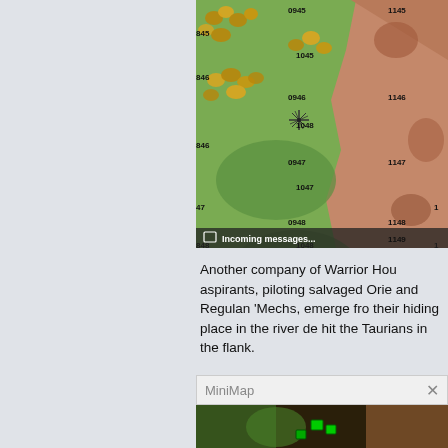[Figure (screenshot): Strategy game hex map screenshot showing green terrain with trees, reddish-brown terrain on right, hex grid coordinates (0945, 1045, 0946, 1048, 0947, 1047, 0948, 1048, 0949, 1145, 1146, 1147, 1148, 1149), and 'Incoming messages...' notification bar at bottom]
Another company of Warrior House aspirants, piloting salvaged Oriente and Regulan 'Mechs, emerge from their hiding place in the river dep hit the Taurians in the flank.
[Figure (screenshot): MiniMap panel header with close button X, and partial minimap image showing dark game terrain with green unit markers]